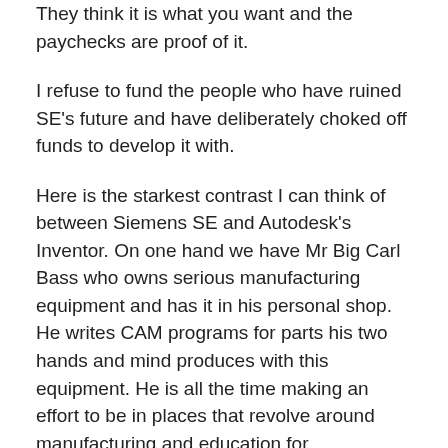They think it is what you want and the paychecks are proof of it.
I refuse to fund the people who have ruined SE's future and have deliberately choked off funds to develop it with.
Here is the starkest contrast I can think of between Siemens SE and Autodesk's Inventor. On one hand we have Mr Big Carl Bass who owns serious manufacturing equipment and has it in his personal shop. He writes CAM programs for parts his two hands and mind produces with this equipment. He is all the time making an effort to be in places that revolve around manufacturing and education for manufacturing. As far as I can tell not only is he in charge but he is committed to the idea that what he does is important not only to Autodesk's future but Americas as a manufacturing giant. He is a maker of things with his own hands and he gets it.